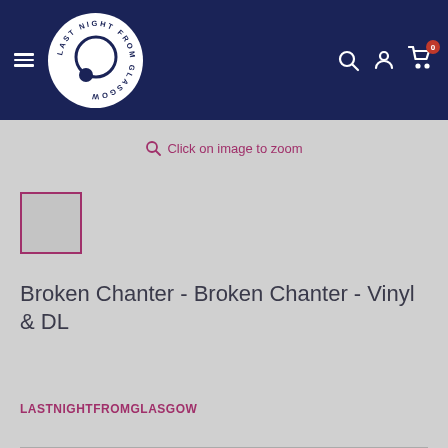Last Night From Glasgow - navigation bar with logo, hamburger menu, search, account, and cart icons
Click on image to zoom
[Figure (photo): Small product image thumbnail placeholder with pink/magenta border]
Broken Chanter - Broken Chanter - Vinyl & DL
LASTNIGHTFROMGLASGOW